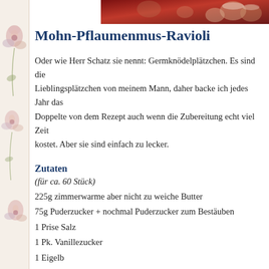[Figure (photo): Partial photo of decorative baked goods on a red background, cropped at top right]
Mohn-Pflaumenmus-Ravioli
Oder wie Herr Schatz sie nennt: Germknödelplätzchen. Es sind die Lieblingsplätzchen von meinem Mann, daher backe ich jedes Jahr das Doppelte von dem Rezept auch wenn die Zubereitung echt viel Zeit kostet. Aber sie sind einfach zu lecker.
Zutaten
(für ca. 60 Stück)
225g zimmerwarme aber nicht zu weiche Butter
75g Puderzucker + nochmal Puderzucker zum Bestäuben
1 Prise Salz
1 Pk. Vanillezucker
1 Eigelb
250g Mehl
80g gemahlener Mohn